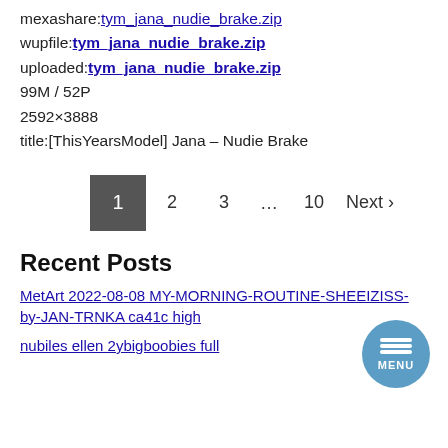mexashare:tym_jana_nudie_brake.zip
wupfile:tym_jana_nudie_brake.zip
uploaded:tym_jana_nudie_brake.zip
99M / 52P
2592×3888
title:[ThisYearsModel] Jana – Nudie Brake
[Figure (other): Pagination bar: 1 (active/dark), 2, 3, ..., 10, Next >]
Recent Posts
MetArt 2022-08-08 MY-MORNING-ROUTINE-SHEEIZISS-by-JAN-TRNKA ca41c high
nubiles ellen 2ybigboobies full